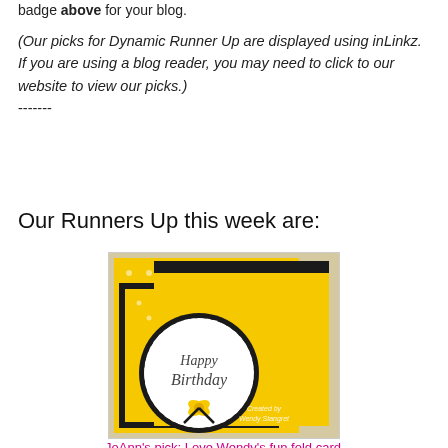badge above for your blog.
(Our picks for Dynamic Runner Up are displayed using inLinkz. If you are using a blog reader, you may need to click to our website to view our picks.)
-------
Our Runners Up this week are:
[Figure (photo): Photo of a handmade Happy Birthday card with yellow polka dot pattern, black borders, and a yellow ribbon bow, with cursive text reading 'Happy Birthday'. Created by Wendy Stangret.]
JoAnn's pick: Love Wendy's fun fold card